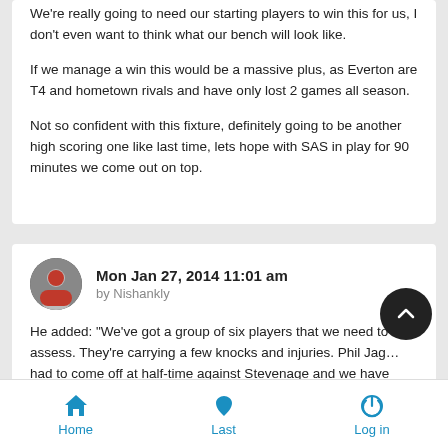We're really going to need our starting players to win this for us, I don't even want to think what our bench will look like.
If we manage a win this would be a massive plus, as Everton are T4 and hometown rivals and have only lost 2 games all season.
Not so confident with this fixture, definitely going to be another high scoring one like last time, lets hope with SAS in play for 90 minutes we come out on top.
Mon Jan 27, 2014 11:01 am
by Nishankly
He added: "We've got a group of six players that we need to assess. They're carrying a few knocks and injuries. Phil Jag... had to come off at half-time against Stevenage and we have
Home  Last  Log in